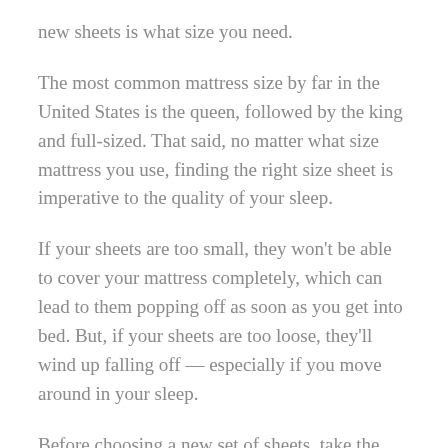new sheets is what size you need.
The most common mattress size by far in the United States is the queen, followed by the king and full-sized. That said, no matter what size mattress you use, finding the right size sheet is imperative to the quality of your sleep.
If your sheets are too small, they won't be able to cover your mattress completely, which can lead to them popping off as soon as you get into bed. But, if your sheets are too loose, they'll wind up falling off — especially if you move around in your sleep.
Before choosing a new set of sheets, take the time to double-check the size of your mattress.
Material